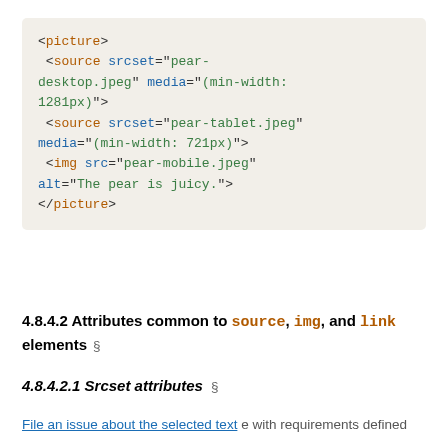[Figure (other): A code block showing HTML picture element with source and img tags using srcset and media attributes]
4.8.4.2 Attributes common to source, img, and link elements §
4.8.4.2.1 Srcset attributes §
A srcset attribute is an attribute with requirements defined